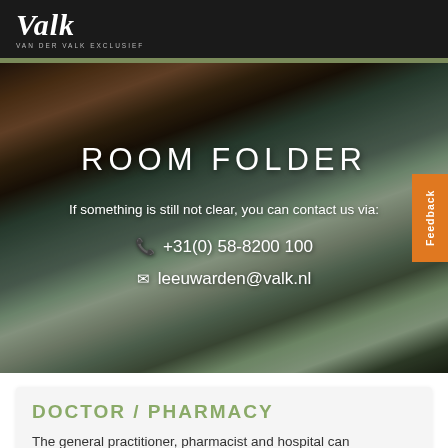Valk — Van der Valk Exclusief
[Figure (photo): Hotel room interior with staircase, modern living area, large windows with outdoor view. Overlay text shows ROOM FOLDER, contact phone +31(0) 58-8200 100 and email leeuwarden@valk.nl]
ROOM FOLDER
If something is still not clear, you can contact us via:
+31(0) 58-8200 100
leeuwarden@valk.nl
DOCTOR / PHARMACY
The general practitioner, pharmacist and hospital can